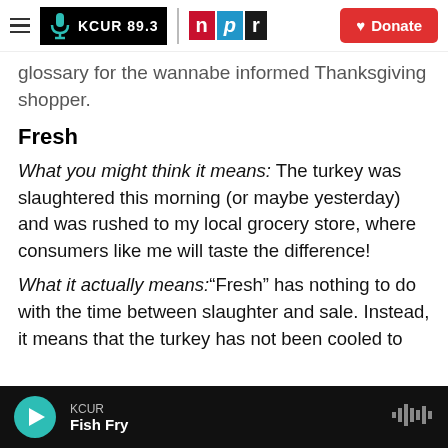KCUR 89.3 | npr | Donate
glossary for the wannabe informed Thanksgiving shopper.
Fresh
What you might think it means: The turkey was slaughtered this morning (or maybe yesterday) and was rushed to my local grocery store, where consumers like me will taste the difference!
What it actually means: "Fresh" has nothing to do with the time between slaughter and sale. Instead, it means that the turkey has not been cooled to
KCUR | Fish Fry